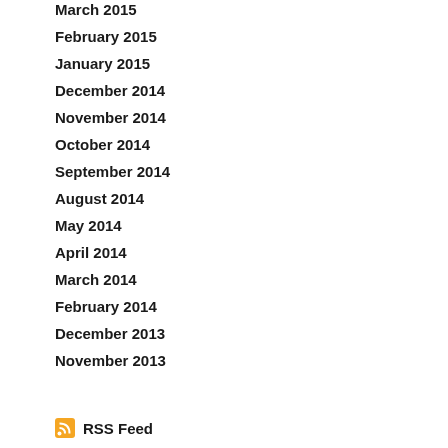March 2015
February 2015
January 2015
December 2014
November 2014
October 2014
September 2014
August 2014
May 2014
April 2014
March 2014
February 2014
December 2013
November 2013
RSS Feed